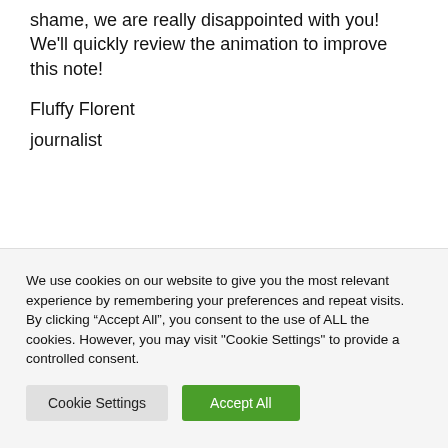shame, we are really disappointed with you! We'll quickly review the animation to improve this note!
Fluffy Florent
journalist
We use cookies on our website to give you the most relevant experience by remembering your preferences and repeat visits. By clicking “Accept All”, you consent to the use of ALL the cookies. However, you may visit "Cookie Settings" to provide a controlled consent.